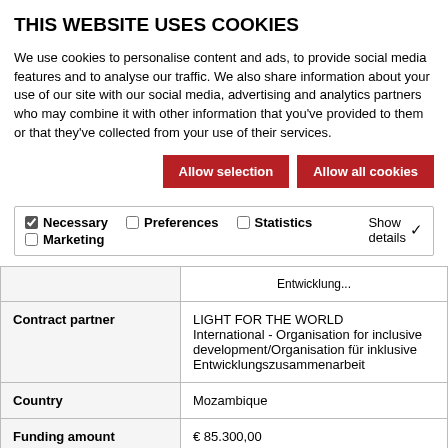THIS WEBSITE USES COOKIES
We use cookies to personalise content and ads, to provide social media features and to analyse our traffic. We also share information about your use of our site with our social media, advertising and analytics partners who may combine it with other information that you've provided to them or that they've collected from your use of their services.
Allow selection | Allow all cookies
Necessary  Preferences  Statistics  Marketing  Show details
|  |  |
| --- | --- |
|  | Entwicklung... |
| Contract partner | LIGHT FOR THE WORLD
International - Organisation for inclusive development/Organisation für inklusive Entwicklungszusammenarbeit |
| Country | Mozambique |
| Funding amount | € 85.300,00 |